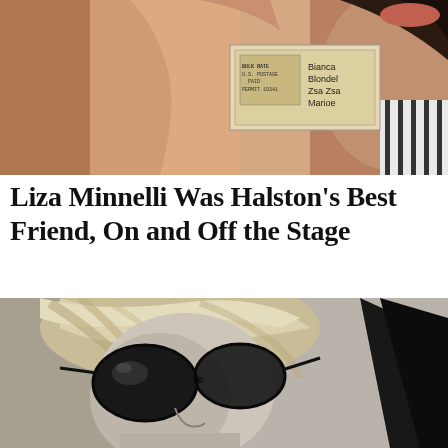[Figure (photo): Top collage image showing a close-up of a person's face and torso in warm tones, with a postage stamp/mailing label visible in the center reading 'BULK RATE U.S. POSTAGE PAID PERMIT 10341', and text to the right reading 'Bianca Blondel Zsa Zsa Marioe']
Liza Minnelli Was Halston's Best Friend, On and Off the Stage
[Figure (photo): Black and white photograph of a blonde woman wearing large dark sunglasses, with windswept hair, photographed from slightly below, dramatic lighting with a dark shadow on the right side of the frame]